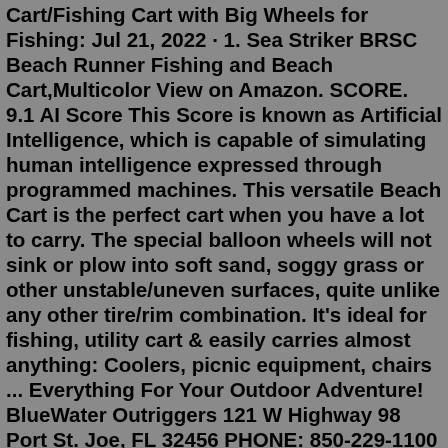Cart/Fishing Cart with Big Wheels for Fishing: Jul 21, 2022 · 1. Sea Striker BRSC Beach Runner Fishing and Beach Cart,Multicolor View on Amazon. SCORE. 9.1 AI Score This Score is known as Artificial Intelligence, which is capable of simulating human intelligence expressed through programmed machines. This versatile Beach Cart is the perfect cart when you have a lot to carry. The special balloon wheels will not sink or plow into soft sand, soggy grass or other unstable/uneven surfaces, quite unlike any other tire/rim combination. It's ideal for fishing, utility cart & easily carries almost anything: Coolers, picnic equipment, chairs ... Everything For Your Outdoor Adventure! BlueWater Outriggers 121 W Highway 98 Port St. Joe, FL 32456 PHONE: 850-229-1100 Mon.-Sun. 6:00 am to 7:00 pm ET Web Store: 850-229-6100 Email: support@bluewateroutriggers.com30A Beach Fishing Cart Rentals Beach cart rentals with balloon wheels that travel easily over the powdery soft sand along 30A. Perfect for getting your belongings and